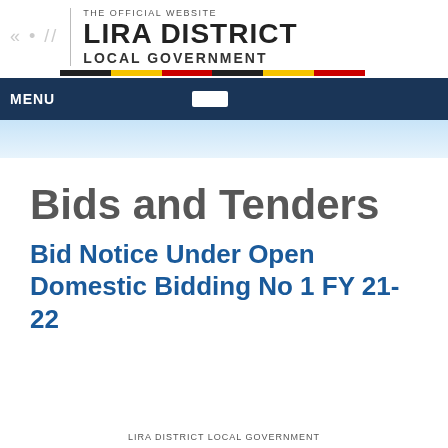THE OFFICIAL WEBSITE
LIRA DISTRICT LOCAL GOVERNMENT
Bids and Tenders
Bid Notice Under Open Domestic Bidding No 1 FY 21-22
LIRA DISTRICT LOCAL GOVERNMENT